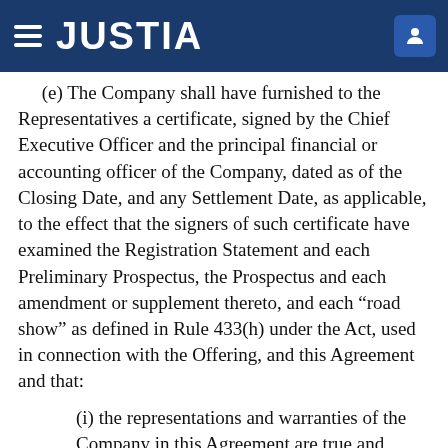JUSTIA
(e) The Company shall have furnished to the Representatives a certificate, signed by the Chief Executive Officer and the principal financial or accounting officer of the Company, dated as of the Closing Date, and any Settlement Date, as applicable, to the effect that the signers of such certificate have examined the Registration Statement and each Preliminary Prospectus, the Prospectus and each amendment or supplement thereto, and each “road show” as defined in Rule 433(h) under the Act, used in connection with the Offering, and this Agreement and that:
(i) the representations and warranties of the Company in this Agreement are true and correct on and as of such date with the same effect as if made on such date, and the Company has complied with all the agreements and satisfied all the conditions on its part to be performed or satisfied at or prior to such date;
(ii) no stop order suspending the effectiveness of the Registration Statement or any notice objecting to its use has been issued and no proceedings for that purpose have been instituted under the Act have been instituted or, to the Company’s knowledge, threatened; and
(iii) since the date of the most recent financial statements included or incorporated by reference in the Prospectus (exclusive of any supplement thereto), except as set forth in or contemplated in the Statutory